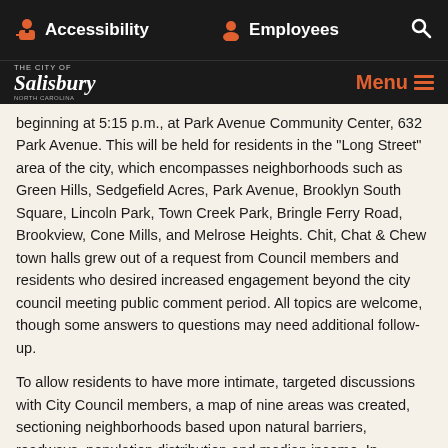Accessibility   Employees   Search
The City of Salisbury   Menu
beginning at 5:15 p.m., at Park Avenue Community Center, 632 Park Avenue. This will be held for residents in the "Long Street" area of the city, which encompasses neighborhoods such as Green Hills, Sedgefield Acres, Park Avenue, Brooklyn South Square, Lincoln Park, Town Creek Park, Bringle Ferry Road, Brookview, Cone Mills, and Melrose Heights. Chit, Chat & Chew town halls grew out of a request from Council members and residents who desired increased engagement beyond the city council meeting public comment period. All topics are welcome, though some answers to questions may need additional follow-up.
To allow residents to have more intimate, targeted discussions with City Council members, a map of nine areas was created, sectioning neighborhoods based upon natural barriers, roadways, population distribution and median income. In addition, some neighborhoods have different needs and concerns than others, such as code enforcement, leaf collection and road condition concerns. Town halls will be held in each of the nine areas every other month, although residents throughout the city are welcome at any Chit, Chat & Chew.
“Recognizing that each neighborhood in our city has its own set of challenges and triumphs,” said Anne Little, Salisbury human relations manager, “Chit, Chat & Chew is an opportunity to have some of those challenges addressed or to tout their community accomplishments, and perhaps provide support to